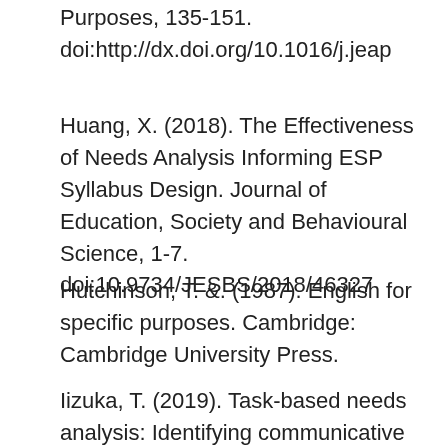Purposes, 135-151. doi:http://dx.doi.org/10.1016/j.jeap
Huang, X. (2018). The Effectiveness of Needs Analysis Informing ESP Syllabus Design. Journal of Education, Society and Behavioural Science, 1-7. doi:10.9734/JESBS/2018/46327
Hutchinson, T. &. (1987). English for specific purposes. Cambridge: Cambridge University Press.
Iizuka, T. (2019). Task-based needs analysis: Identifying communicative needs for study